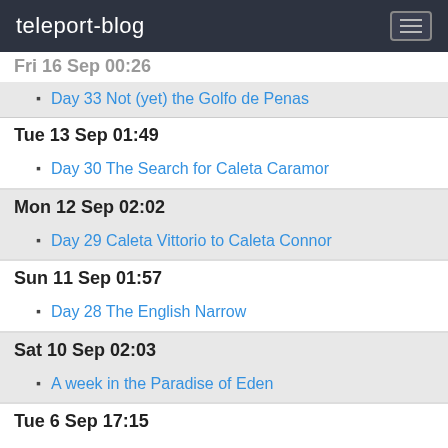teleport-blog
Fri 16 Sep 00:26
Day 33 Not (yet) the Golfo de Penas
Tue 13 Sep 01:49
Day 30 The Search for Caleta Caramor
Mon 12 Sep 02:02
Day 29 Caleta Vittorio to Caleta Connor
Sun 11 Sep 01:57
Day 28 The English Narrow
Sat 10 Sep 02:03
A week in the Paradise of Eden
Tue 6 Sep 17:15
Not quite deja vu
Mon 5 Sep 12:05
Day 21 and 22 A very different meaning to the word 'coffee'
Sat 3 Sep 02:17
Day 20 Welcome to Edén